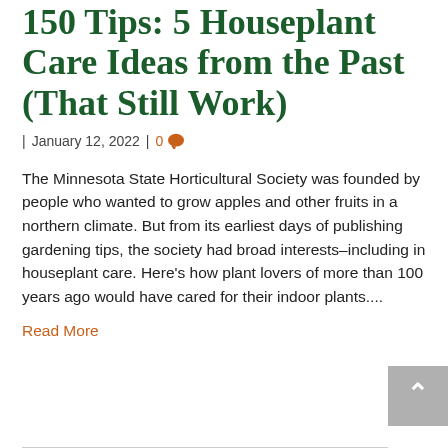150 Tips: 5 Houseplant Care Ideas from the Past (That Still Work)
| January 12, 2022 | 0 💬
The Minnesota State Horticultural Society was founded by people who wanted to grow apples and other fruits in a northern climate. But from its earliest days of publishing gardening tips, the society had broad interests–including in houseplant care. Here's how plant lovers of more than 100 years ago would have cared for their indoor plants....
Read More